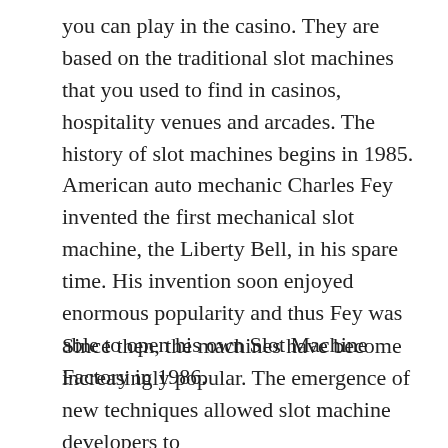you can play in the casino. They are based on the traditional slot machines that you used to find in casinos, hospitality venues and arcades. The history of slot machines begins in 1985. American auto mechanic Charles Fey invented the first mechanical slot machine, the Liberty Bell, in his spare time. His invention soon enjoyed enormous popularity and thus Fey was able to open his own Slot Machine Factory in 1986.
Since then, the machines have become increasingly popular. The emergence of new techniques allowed slot machine developers to